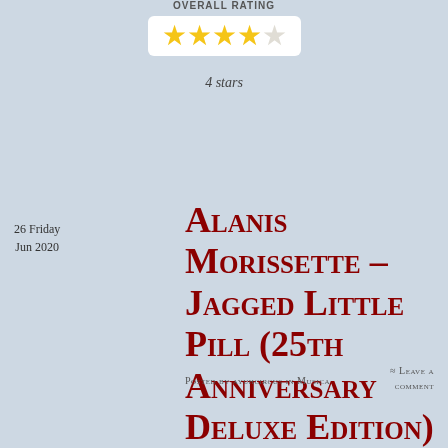OVERALL RATING
[Figure (other): Star rating widget showing 4 filled gold stars and 1 empty star on a white rounded rectangle background]
4 stars
26 Friday
Jun 2020
Alanis Morissette – Jagged Little Pill (25th Anniversary Deluxe Edition)
Posted by ayuhcircus in Musica
≈ Leave a comment